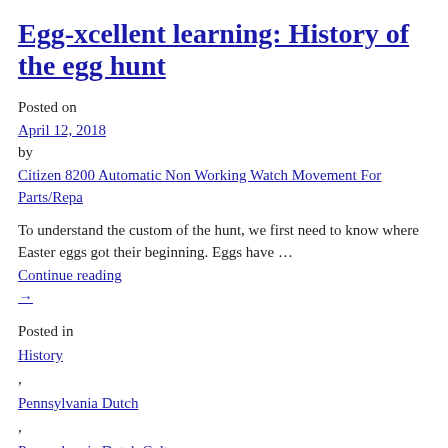Egg-xcellent learning: History of the egg hunt
Posted on
April 12, 2018
by
Citizen 8200 Automatic Non Working Watch Movement For Parts/Repa
To understand the custom of the hunt, we first need to know where Easter eggs got their beginning. Eggs have …
Continue reading →
Posted in
History
,
Pennsylvania Dutch
,
Pennsylvania Dutch Culture
,
Religion
|